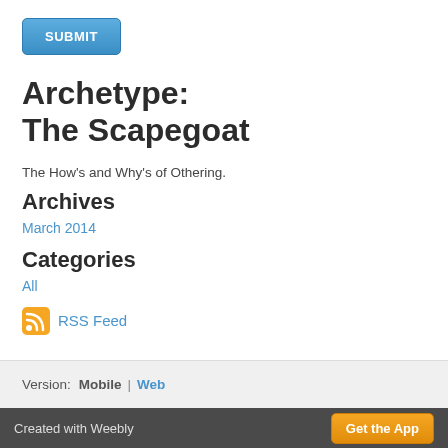[Figure (other): Blue SUBMIT button]
Archetype:
The Scapegoat
The How's and Why's of Othering.
Archives
March 2014
Categories
All
RSS Feed
Version:  Mobile  |  Web
Created with Weebly    Get the App